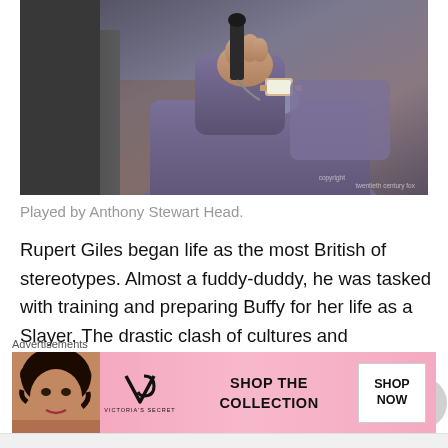[Figure (photo): Photo of Anthony Stewart Head wearing a purple/grey sweater, holding something, with another person partially visible on the left. Copyright watermark: twentieth century fox.]
Played by Anthony Stewart Head.
Rupert Giles began life as the most British of stereotypes. Almost a fuddy-duddy, he was tasked with training and preparing Buffy for her life as a Slayer. The drastic clash of cultures and personalities became one of the shows earliest sources of comedy, and threw into sharp contrast how different Buffy is from the life that's been prescribed to her. Giles later showed a very different set of stripes when
[Figure (other): Victoria's Secret advertisement banner showing a model with curly hair, VS logo, text 'SHOP THE COLLECTION', and a 'SHOP NOW' button on a pink background.]